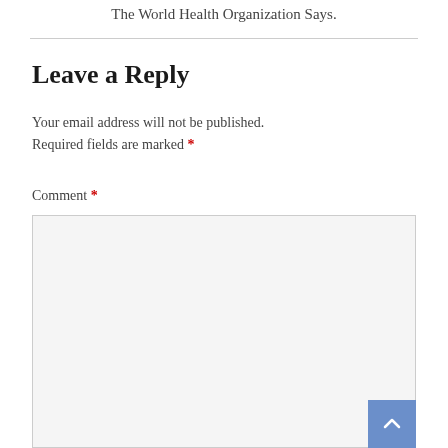The World Health Organization Says.
Leave a Reply
Your email address will not be published. Required fields are marked *
Comment *